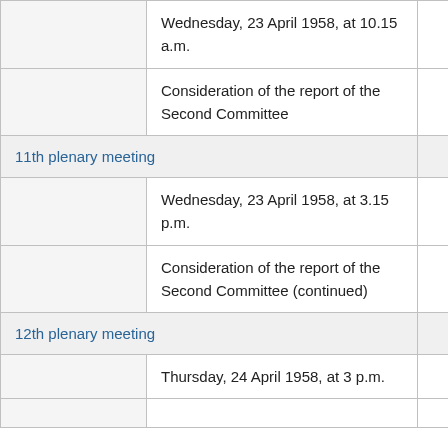|  | Wednesday, 23 April 1958, at 10.15 a.m. |  |
|  | Consideration of the report of the Second Committee |  |
| 11th plenary meeting |  |  |
|  | Wednesday, 23 April 1958, at 3.15 p.m. |  |
|  | Consideration of the report of the Second Committee (continued) |  |
| 12th plenary meeting |  |  |
|  | Thursday, 24 April 1958, at 3 p.m. |  |
|  |  |  |